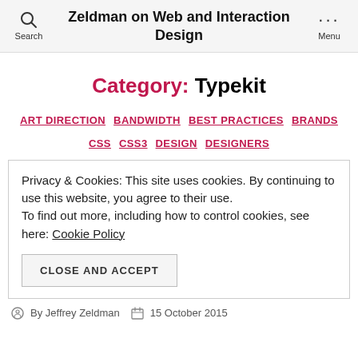Zeldman on Web and Interaction Design
Category: Typekit
ART DIRECTION   BANDWIDTH   BEST PRACTICES   BRANDS   CSS   CSS3   DESIGN   DESIGNERS
Privacy & Cookies: This site uses cookies. By continuing to use this website, you agree to their use. To find out more, including how to control cookies, see here: Cookie Policy
CLOSE AND ACCEPT
By Jeffrey Zeldman   15 October 2015